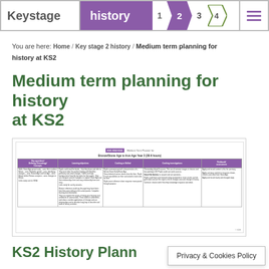Keystage history 1 2 3 4
You are here: Home / Key stage 2 history / Medium term planning for history at KS2
Medium term planning for history at KS2
[Figure (table-as-image): Thumbnail preview of a medium term planner document table for Bronze/Stone Age to Iron Age, Year 3, with columns for Key questions, Learning objectives, Cooking or Skilled, Cooking investigations, and Fieldwork/assessment. Content is too small to read in full.]
KS2 History Plann...